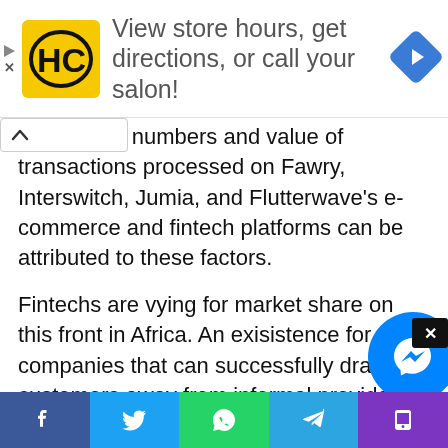[Figure (other): Advertisement banner with HC logo (yellow square with HC letters) and navigation icon (blue diamond with right arrow). Text reads: View store hours, get directions, or call your salon!]
rise in user numbers and value of transactions processed on Fawry, Interswitch, Jumia, and Flutterwave's e-commerce and fintech platforms can be attributed to these factors.
Fintechs are vying for market share on this front in Africa. An exisistence for companies that can successfully draw customers away from informal providers. In an interview with Quartz, Shah predicted that the next fintech unicorn would appear here.
[Figure (other): Social sharing bar at bottom with Facebook, Twitter, WhatsApp, Telegram, and phone icons]